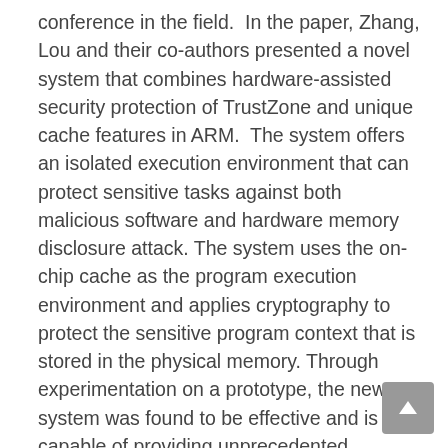conference in the field.  In the paper, Zhang, Lou and their co-authors presented a novel system that combines hardware-assisted security protection of TrustZone and unique cache features in ARM.  The system offers an isolated execution environment that can protect sensitive tasks against both malicious software and hardware memory disclosure attack. The system uses the on-chip cache as the program execution environment and applies cryptography to protect the sensitive program context that is stored in the physical memory. Through experimentation on a prototype, the new system was found to be effective and is capable of providing unprecedented protection with little performance impact.
Since 1980, the IEEE Symposium on Security and Privacy has been the premier forum for presenting developments in computer security and electronic privacy, and for bringing together researchers and practitioners in the field. The 2016 Symposium marks